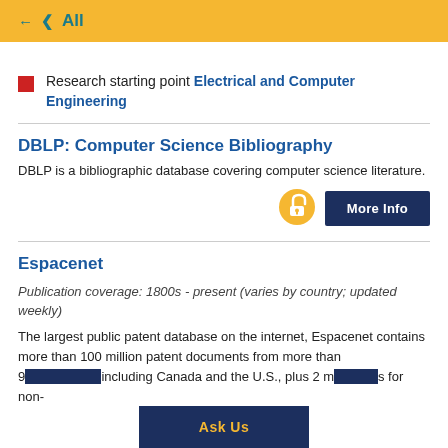All
Research starting point Electrical and Computer Engineering
DBLP: Computer Science Bibliography
DBLP is a bibliographic database covering computer science literature.
[Figure (logo): Open access icon - orange circle with white open lock symbol]
Espacenet
Publication coverage: 1800s - present (varies by country; updated weekly)
The largest public patent database on the internet, Espacenet contains more than 100 million patent documents from more than 9... including Canada and the U.S., plus 2 m... s for non-
Ask Us